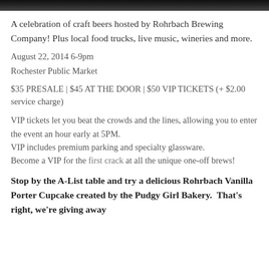[Figure (photo): Dark photographic image strip at top of page showing what appears to be a bar or brewing environment]
A celebration of craft beers hosted by Rohrbach Brewing Company! Plus local food trucks, live music, wineries and more.
August 22, 2014 6-9pm
Rochester Public Market
$35 PRESALE | $45 AT THE DOOR | $50 VIP TICKETS (+ $2.00 service charge)
VIP tickets let you beat the crowds and the lines, allowing you to enter the event an hour early at 5PM.
VIP includes premium parking and specialty glassware.
Become a VIP for the first crack at all the unique one-off brews!
Stop by the A-List table and try a delicious Rohrbach Vanilla Porter Cupcake created by the Pudgy Girl Bakery.  That's right, we're giving away